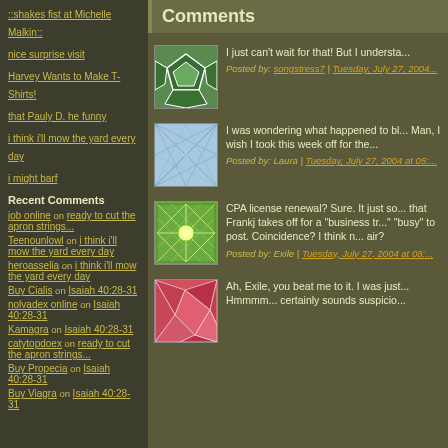::shakes fist at Michelle Malkin::
nice surprise visit
Harvey Wants to Make T-Shirts!
that Pauly D. he funny
i think i'll mow the yard every day
i might barf
Recent Comments
job online on ready to cut the apron strings...
Teenounlowl on i think i'll mow the yard every day
heroasselia on i think i'll mow the yard every day
Buy Cialis on Isaiah 40:28-31
nolvadex online on Isaiah 40:28-31
Kamagra on Isaiah 40:28-31
catytopdoex on ready to cut the apron strings...
Buy Propecia on Isaiah 40:28-31
Buy Viagra on Isaiah 40:28-31
Comments
I just can't wait for that! But I understa...
Posted by: songstress7 | Tuesday, July 27, 2004...
I was wondering what happened to bl... Man, I wish I took this week off for the...
Posted by: Laura | Tuesday, July 27, 2004 at 05:...
CPA license renewal? Sure. It just so... that Frankj takes off for a "business tr..." "busy" to post. Coincidence? I think n... air?
Posted by: Exile | Tuesday, July 27, 2004 at 08:...
Ah, Exile, you beat me to it. I was just... Hmmmm... certainly sounds suspicio...